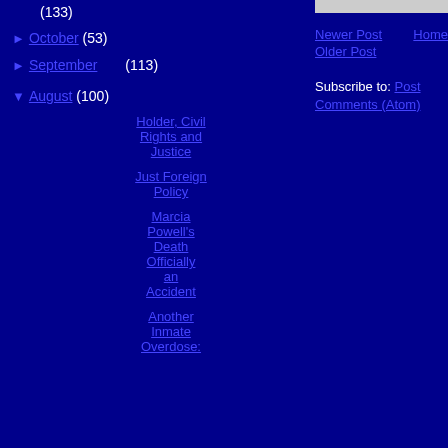(133)
► October (53)
► September (113)
▼ August (100)
Holder, Civil Rights and Justice
Just Foreign Policy
Marcia Powell's Death Officially an Accident
Another Inmate Overdose:
Newer Post   Home   Older Post
Subscribe to: Post Comments (Atom)